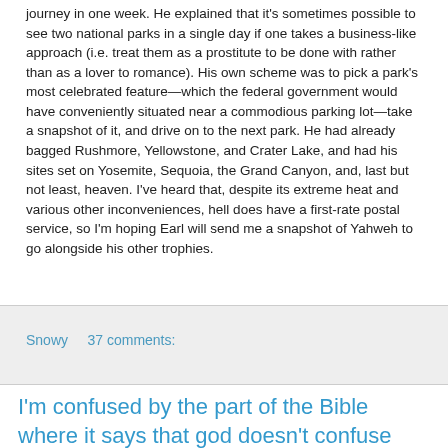journey in one week. He explained that it's sometimes possible to see two national parks in a single day if one takes a business-like approach (i.e. treat them as a prostitute to be done with rather than as a lover to romance). His own scheme was to pick a park's most celebrated feature—which the federal government would have conveniently situated near a commodious parking lot—take a snapshot of it, and drive on to the next park. He had already bagged Rushmore, Yellowstone, and Crater Lake, and had his sites set on Yosemite, Sequoia, the Grand Canyon, and, last but not least, heaven. I've heard that, despite its extreme heat and various other inconveniences, hell does have a first-rate postal service, so I'm hoping Earl will send me a snapshot of Yahweh to go alongside his other trophies.
Snowy   37 comments:
I'm confused by the part of the Bible where it says that god doesn't confuse people.